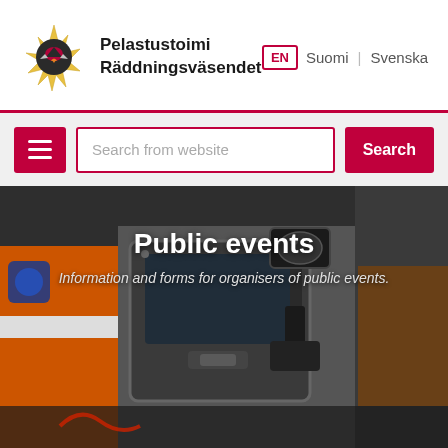[Figure (logo): Pelastustoimi Räddningsväsendet logo — gold star badge with phoenix bird and flame, beside the Finnish/Swedish organization name]
Pelastustoimi Räddningsväsendet | EN | Suomi | Svenska
Search from website
Public events
Information and forms for organisers of public events.
[Figure (photo): Close-up photograph of a fire truck / emergency vehicle, showing orange and white bodywork, side mirror, door handle, and equipment. Dark, moody background.]